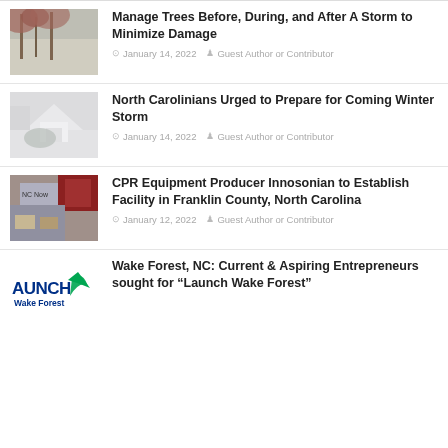[Figure (photo): Winter trees with snow and red berries]
Manage Trees Before, During, and After A Storm to Minimize Damage
January 14, 2022   Guest Author or Contributor
[Figure (photo): Snow-covered white house with bushes in winter]
North Carolinians Urged to Prepare for Coming Winter Storm
January 14, 2022   Guest Author or Contributor
[Figure (photo): NC Now logo/map with items on table]
CPR Equipment Producer Innosonian to Establish Facility in Franklin County, North Carolina
January 12, 2022   Guest Author or Contributor
[Figure (logo): AUNCH Wake Forest logo]
Wake Forest, NC: Current & Aspiring Entrepreneurs sought for “Launch Wake Forest”